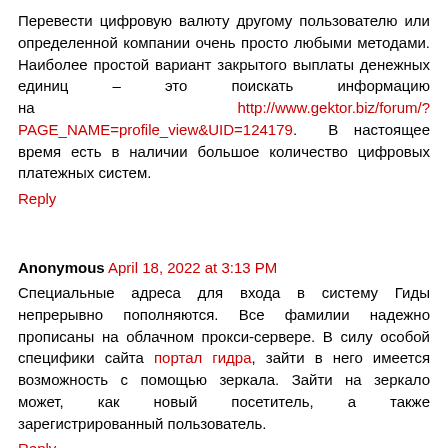Перевести цифровую валюту другому пользователю или определенной компании очень просто любыми методами. Наиболее простой вариант закрытого выплаты денежных единиц – это поискать информацию на http://www.gektor.biz/forum/?PAGE_NAME=profile_view&UID=124179. В настоящее время есть в наличии большое количество цифровых платежных систем.
Reply
Anonymous April 18, 2022 at 3:13 PM
Специальные адреса для входа в систему Гиды непрерывно пополняются. Все фамилии надежно прописаны на облачном прокси-сервере. В силу особой специфики сайта портал гидра, зайти в него имеется возможность с помощью зеркала. Зайти на зеркало может, как новый посетитель, а также зарегистрированный пользователь.
Reply